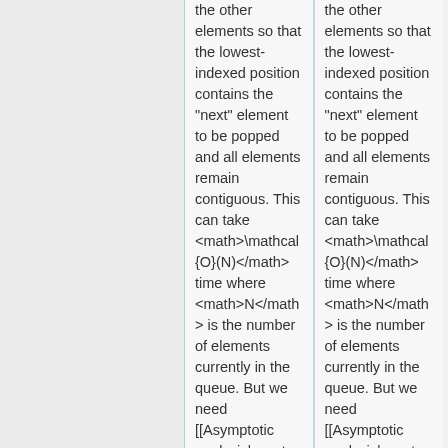the other elements so that the lowest-indexed position contains the "next" element to be popped and all elements remain contiguous. This can take <math>\mathcal{O}(N)</math> time where <math>N</math> is the number of elements currently in the queue. But we need [[Asymptotic analysis|constant time]] push/pop
the other elements so that the lowest-indexed position contains the "next" element to be popped and all elements remain contiguous. This can take <math>\mathcal{O}(N)</math> time where <math>N</math> is the number of elements currently in the queue. But we need [[Asymptotic analysis|constant time]] push/pop